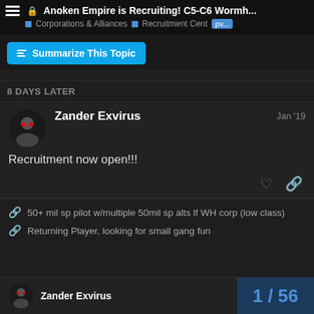Anoken Empire is Recruiting! C5-C6 Wormh...
Corporations & Alliances   Recruitment Center   pv...
Summarize This Topic
8 DAYS LATER
Zander Exvirus   Jan '19
Recruitment now open!!!
50+ mil sp pilot w/multiple 50mil sp alts lf WH corp (low class)
Returning Player, looking for small gang fun
Zander Exvirus   1 / 56